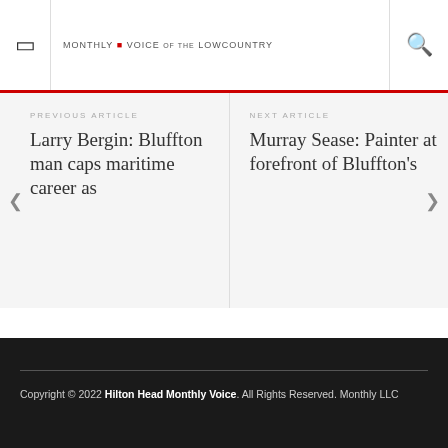MONTHLY VOICE of the LOWCOUNTRY
PREVIOUS ARTICLE
Larry Bergin: Bluffton man caps maritime career as
NEXT ARTICLE
Murray Sease: Painter at forefront of Bluffton's
Copyright © 2022 Hilton Head Monthly Voice. All Rights Reserved. Monthly LLC